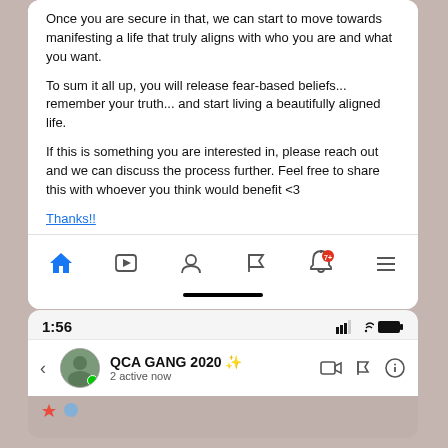[Figure (screenshot): Mobile app screenshot showing end of a chat message about manifesting, with navigation bar at bottom. Text reads: 'Once you are secure in that, we can start to move towards manifesting a life that truly aligns with who you are and what you want. To sum it all up, you will release fear-based beliefs... remember your truth... and start living a beautifully aligned life. If this is something you are interested in, please reach out and we can discuss the process further. Feel free to share this with whoever you think would benefit <3 Thanks!!' with home bar indicator below nav icons.]
[Figure (screenshot): Mobile phone screenshot showing status bar at 1:56 with signal/wifi/battery icons, and a Messenger-style group chat header for 'QCA GANG 2020 ✨' with '2 active now', back arrow, avatar with green dot, and video/flag/info icons.]